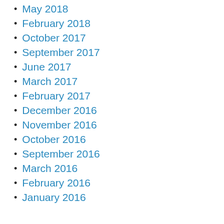May 2018
February 2018
October 2017
September 2017
June 2017
March 2017
February 2017
December 2016
November 2016
October 2016
September 2016
March 2016
February 2016
January 2016